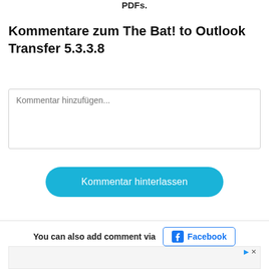PDFs.
Kommentare zum The Bat! to Outlook Transfer 5.3.3.8
Kommentar hinzufügen...
Kommentar hinterlassen
You can also add comment via Facebook